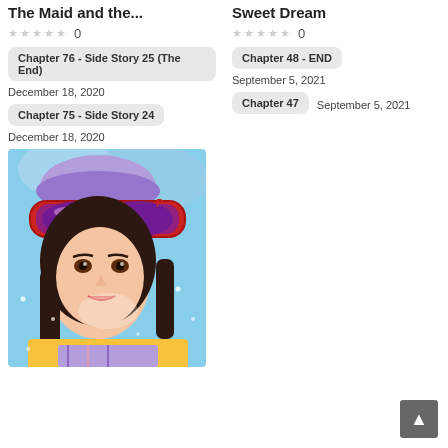The Maid and the...
★★★★★ 0
Chapter 76 - Side Story 25 (The End)
December 18, 2020
Chapter 75 - Side Story 24
December 18, 2020
[Figure (illustration): Manga-style illustration of a young woman wearing ski goggles and winter gear, including a yellow jacket and plaid top, with long dark hair, snow falling in the background, blue sky.]
Sweet Dream
★★★★★ 0
Chapter 48 - END
September 5, 2021
Chapter 47
September 5, 2021